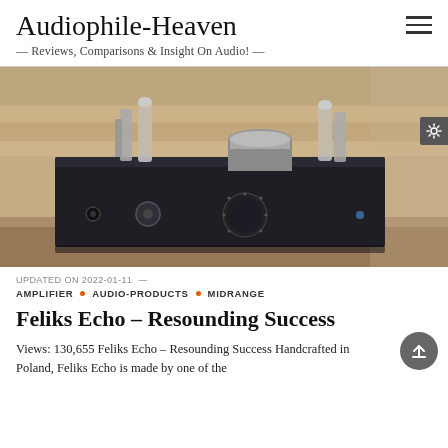Audiophile-Heaven — Reviews, Comparisons & Insight On Audio! —
[Figure (photo): A tube amplifier (Feliks Echo) with vacuum tubes visible on top, sitting on a wooden surface. The device is black with a large volume knob and a headphone jack on the front panel.]
UPDATED ON 2022-01-11 —
AMPLIFIER • AUDIO-PRODUCTS • MIDRANGE
Feliks Echo – Resounding Success
Views: 130,655 Feliks Echo – Resounding Success Handcrafted in Poland, Feliks Echo is made by one of the